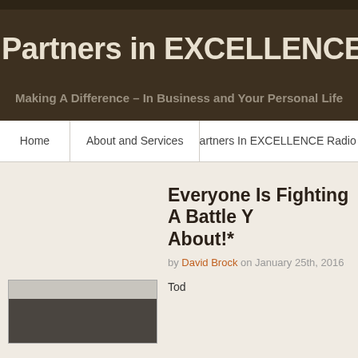Partners in EXCELLENCE Blog
Making A Difference – In Business and Your Personal Life
Home | About and Services | Partners In EXCELLENCE Radio A
Everyone Is Fighting A Battle Y… About!*
by David Brock on January 25th, 2016
[Figure (photo): Dark photo at bottom of page, partially visible]
Tod…